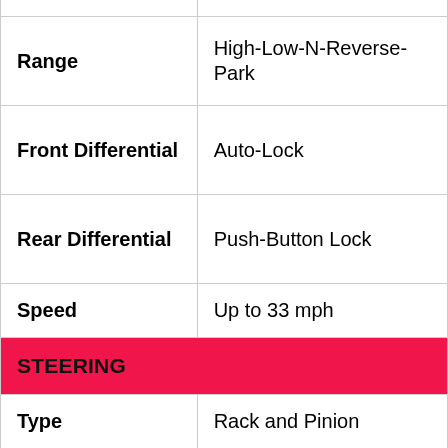| Feature | Value |
| --- | --- |
| Range | High-Low-N-Reverse-Park |
| Front Differential | Auto-Lock |
| Rear Differential | Push-Button Lock |
| Speed | Up to 33 mph |
| STEERING |  |
| Type | Rack and Pinion |
| BRAKES |  |
|  |  |